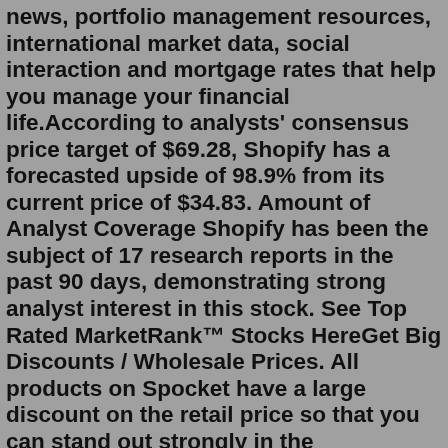news, portfolio management resources, international market data, social interaction and mortgage rates that help you manage your financial life.According to analysts' consensus price target of $69.28, Shopify has a forecasted upside of 98.9% from its current price of $34.83. Amount of Analyst Coverage Shopify has been the subject of 17 research reports in the past 90 days, demonstrating strong analyst interest in this stock. See Top Rated MarketRank™ Stocks HereGet Big Discounts / Wholesale Prices. All products on Spocket have a large discount on the retail price so that you can stand out strongly in the dropshipping market. No minimum order. Have your Inventory Auto-Updated. Stay up-to-date with your product inventory, and never sell products that are out of stock.Shopify offers competitive rates and pricing plans to help you find one that fits the needs and budget of your business. If you are unsure about which pricing plan to choose, then register for a 14-day free trial to learn how Shopify's features can help you to sell your products and build your